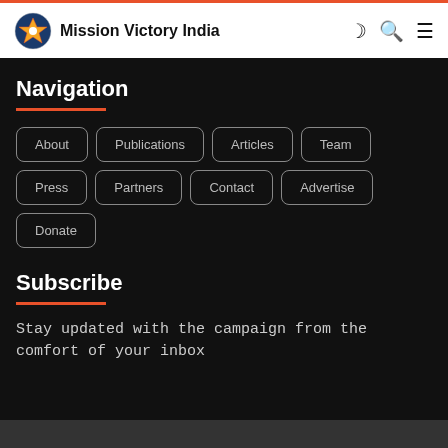Mission Victory India
Navigation
About
Publications
Articles
Team
Press
Partners
Contact
Advertise
Donate
Subscribe
Stay updated with the campaign from the comfort of your inbox